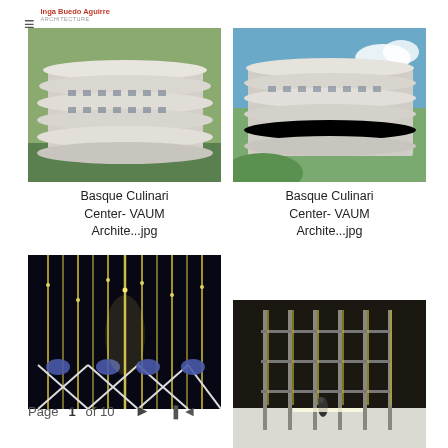Inga Buedo Aguirre
ARCHITECTURE
[Figure (photo): Exterior photo of Basque Culinary Center building showing wavy white concrete floors/balconies]
[Figure (photo): Exterior photo of Basque Culinary Center building from a different angle with blue sky]
Basque Culinari Center- VAUM Archite...jpg
Basque Culinari Center- VAUM Archite...jpg
[Figure (photo): Dark interior installation with dangling yellow chain/light structures and stage lighting equipment]
[Figure (photo): Scaffolding/installation art structure in a large industrial space with vertical elements]
Page 1 of 10